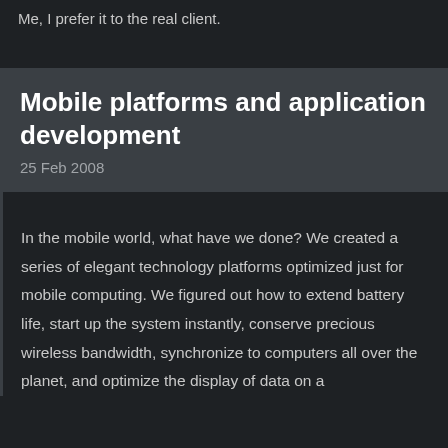Me, I prefer it to the real client.
Mobile platforms and application development
25 Feb 2008
In the mobile world, what have we done? We created a series of elegant technology platforms optimized just for mobile computing. We figured out how to extend battery life, start up the system instantly, conserve precious wireless bandwidth, synchronize to computers all over the planet, and optimize the display of data on a